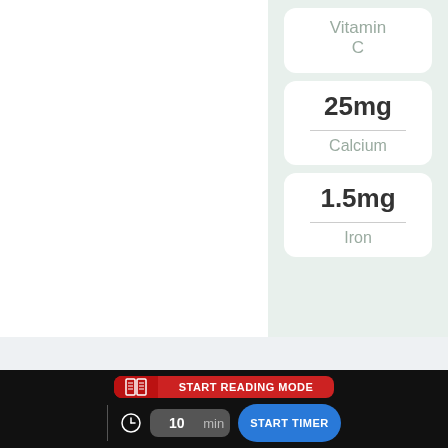Vitamin C
25mg
Calcium
1.5mg
Iron
START READING MODE
10 min
START TIMER